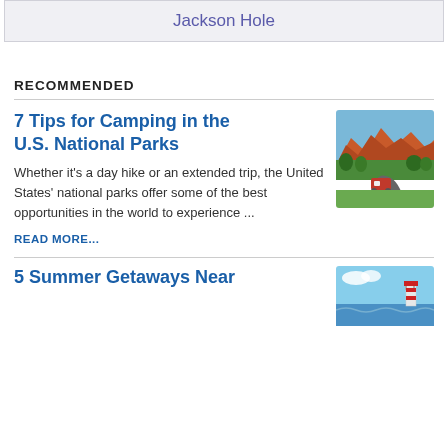Jackson Hole
RECOMMENDED
7 Tips for Camping in the U.S. National Parks
Whether it's a day hike or an extended trip, the United States' national parks offer some of the best opportunities in the world to experience ...
READ MORE...
[Figure (photo): Red rock mountain landscape with camping scene and winding road]
5 Summer Getaways Near
[Figure (photo): Coastal or lighthouse scene with blue sky]